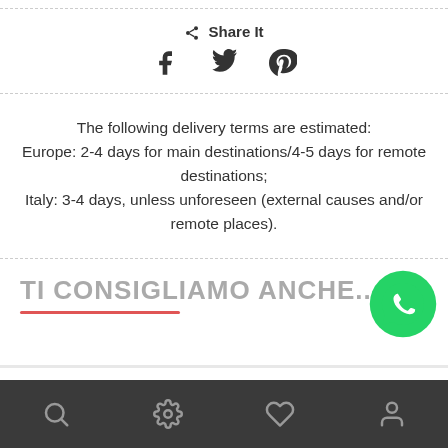Share It
The following delivery terms are estimated: Europe: 2-4 days for main destinations/4-5 days for remote destinations; Italy: 3-4 days, unless unforeseen (external causes and/or remote places).
TI CONSIGLIAMO ANCHE...
navigation icons: search, settings, heart, user